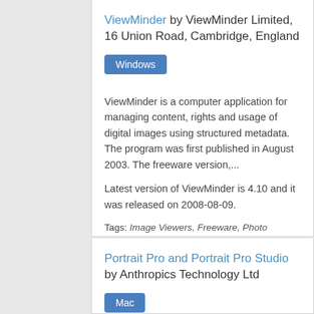ViewMinder by ViewMinder Limited, 16 Union Road, Cambridge, England
Windows
ViewMinder is a computer application for managing content, rights and usage of digital images using structured metadata. The program was first published in August 2003. The freeware version,...
Latest version of ViewMinder is 4.10 and it was released on 2008-08-09.
Tags: Image Viewers, Freeware, Photo Software, Image Organizers, Windows Graphicsrelated Software
Portrait Pro and Portrait Pro Studio by Anthropics Technology Ltd
Mac